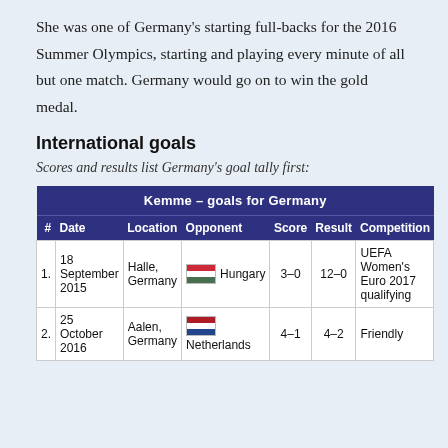She was one of Germany's starting full-backs for the 2016 Summer Olympics, starting and playing every minute of all but one match. Germany would go on to win the gold medal.
International goals
Scores and results list Germany's goal tally first:
| # | Date | Location | Opponent | Score | Result | Competition |
| --- | --- | --- | --- | --- | --- | --- |
| 1. | 18 September 2015 | Halle, Germany | Hungary | 3–0 | 12–0 | UEFA Women's Euro 2017 qualifying |
| 2. | 25 October 2016 | Aalen, Germany | Netherlands | 4–1 | 4–2 | Friendly |